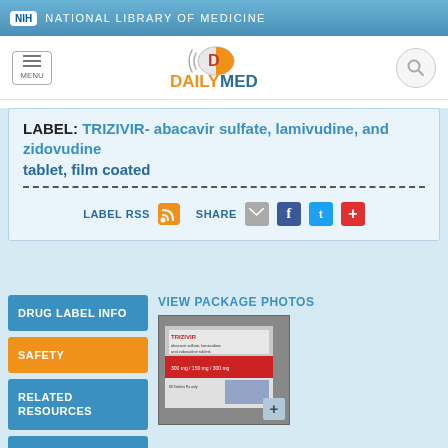NIH NATIONAL LIBRARY OF MEDICINE
[Figure (logo): DailyMed logo with orange pill icon and search button]
LABEL: TRIZIVIR- abacavir sulfate, lamivudine, and zidovudine tablet, film coated
LABEL RSS  SHARE
DRUG LABEL INFO
SAFETY
RELATED RESOURCES
MORE INFO FOR THIS DRUG
VIEW PACKAGE PHOTOS
[Figure (photo): Package photo of TRIZIVIR drug label]